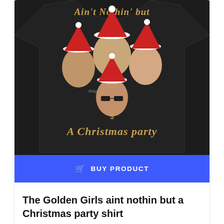[Figure (photo): A black t-shirt featuring four women (The Golden Girls) wearing Santa hats, with text 'Ain't Nothin But' at top and 'A Christmas party' below the figures in gothic-style gold lettering. One figure in the center-bottom wears sunglasses and a dollar sign necklace.]
BUY PRODUCT
The Golden Girls aint nothin but a Christmas party shirt